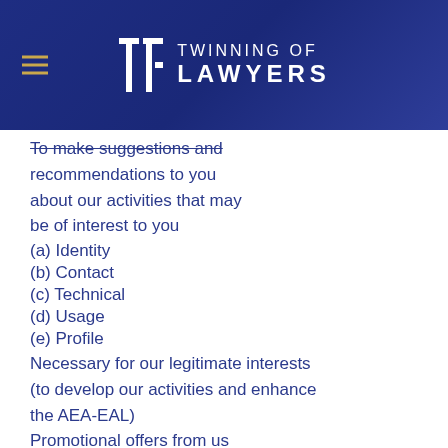TWINNING OF LAWYERS
To make suggestions and recommendations to you about our activities that may be of interest to you
(a) Identity
(b) Contact
(c) Technical
(d) Usage
(e) Profile
Necessary for our legitimate interests (to develop our activities and enhance the AEA-EAL)
Promotional offers from us
We may use your Identity, Contact, Technical, Usage and Profile Data to form a view on what we think you may want or need, or what may be